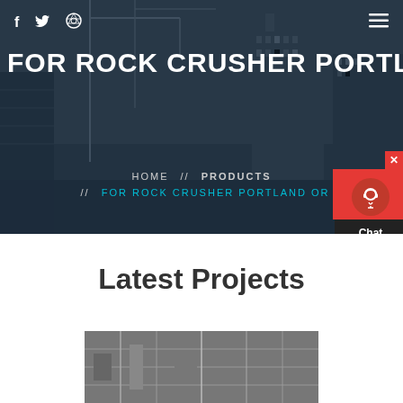[Figure (photo): Hero background showing construction site with cranes and tall buildings under dark overlay]
FOR ROCK CRUSHER PORTLAND
HOME // PRODUCTS // FOR ROCK CRUSHER PORTLAND OR
[Figure (screenshot): Red chat widget with headset icon and Chat Now label]
Latest Projects
[Figure (photo): Industrial construction site interior showing structural elements]